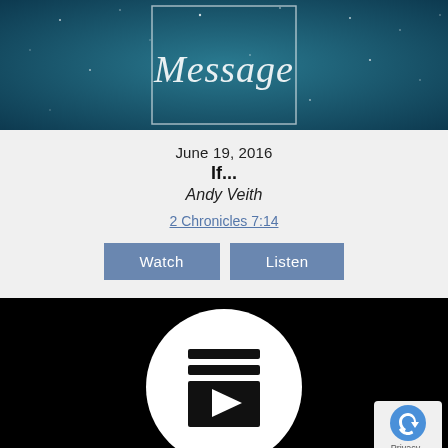[Figure (illustration): Dark teal starry night sky background with cursive white text 'Message' inside a rectangular outline border]
June 19, 2016
If...
Andy Veith
2 Chronicles 7:14
[Figure (screenshot): Black video player area with a white circular play button icon (YouTube-style) and a reCAPTCHA privacy badge in the bottom right corner showing 'Privacy - Terms']